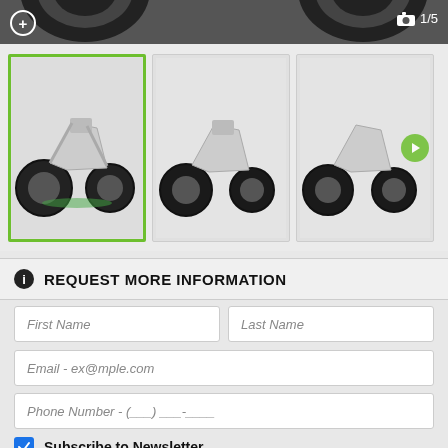[Figure (screenshot): Top of a product image gallery showing motorcycle tires at the top with a zoom icon on the left and camera count '1/5' on the right on a dark gray banner]
[Figure (screenshot): Image gallery thumbnail strip showing three dirt bike motorcycle thumbnails. The first thumbnail is selected with a green border.]
REQUEST MORE INFORMATION
First Name
Last Name
Email - ex@mple.com
Phone Number - (___) ___-____
Subscribe to Newsletter
[Figure (screenshot): reCAPTCHA widget with checkbox, 'I'm not a robot' text, and reCAPTCHA logo with Privacy and Terms links]